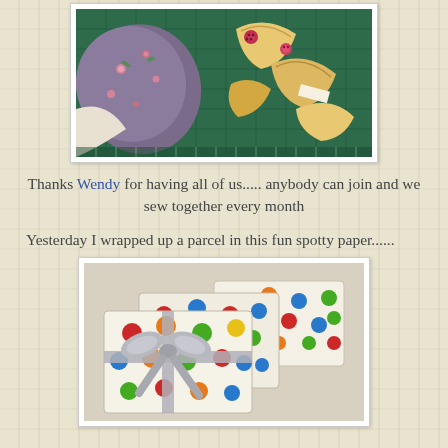[Figure (photo): Craft/sewing items on a green cutting mat: floral fabric in purple/grey with pink roses, felt fortune-cookie shapes, and small red/pink buttons]
Thanks Wendy for having all of us..... anybody can join and we sew together every month
Yesterday I wrapped up a parcel in this fun spotty paper......
[Figure (photo): Gifts wrapped in white paper with colorful polka dots (red, orange, green, blue), tied with a silver/grey satin ribbon bow]